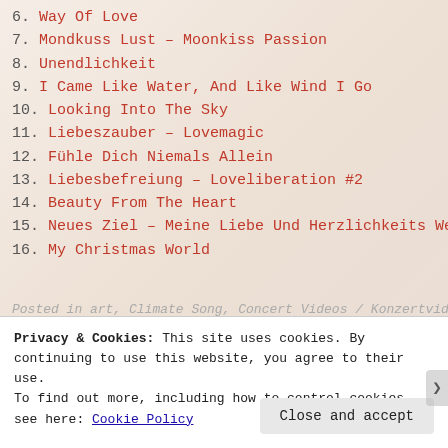6. Way Of Love
7. Mondkuss Lust – Moonkiss Passion
8. Unendlichkeit
9. I Came Like Water, And Like Wind I Go
10. Looking Into The Sky
11. Liebeszauber – Lovemagic
12. Fühle Dich Niemals Allein
13. Liebesbefreiung – Loveliberation #2
14. Beauty From The Heart
15. Neues Ziel – Meine Liebe Und Herzlichkeits Welt
16. My Christmas World
Posted in art, Climate Song, Concert Videos / Konzertvideos
Privacy & Cookies: This site uses cookies. By continuing to use this website, you agree to their use. To find out more, including how to control cookies, see here: Cookie Policy